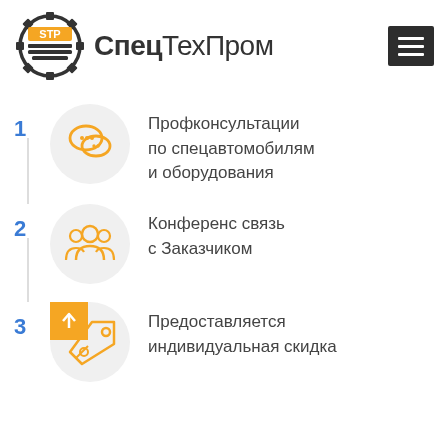[Figure (logo): СпецТехПром company logo with orange gear/machinery icon and dark text]
[Figure (infographic): Mobile menu hamburger button (dark background, three white lines)]
1 Профконсультации по спецавтомобилям и оборудования
2 Конференс связь с Заказчиком
3 Предоставляется индивидуальная скидка